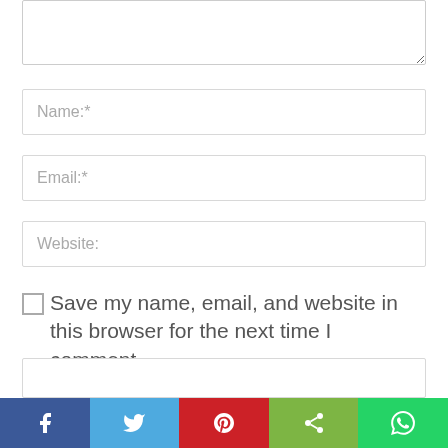[Figure (screenshot): Textarea input box (partially visible at top)]
Name:*
Email:*
Website:
□Save my name, email, and website in this browser for the next time I comment.
Please enter an answer in digits:
[Figure (screenshot): Answer input box (partially visible)]
[Figure (infographic): Social share bar with Facebook, Twitter, Pinterest, Share, and WhatsApp buttons]